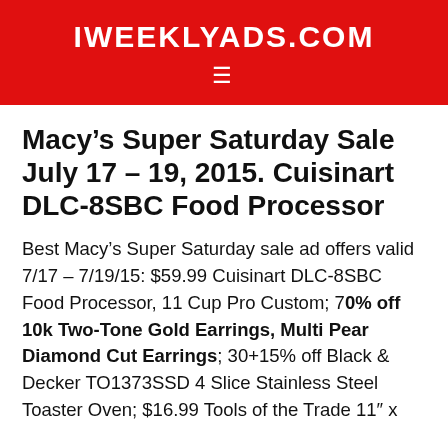IWEEKLYADS.COM
Macy’s Super Saturday Sale July 17 – 19, 2015. Cuisinart DLC-8SBC Food Processor
Best Macy’s Super Saturday sale ad offers valid 7/17 – 7/19/15: $59.99 Cuisinart DLC-8SBC Food Processor, 11 Cup Pro Custom; 70% off 10k Two-Tone Gold Earrings, Multi Pear Diamond Cut Earrings; 30+15% off Black & Decker TO1373SSD 4 Slice Stainless Steel Toaster Oven; $16.99 Tools of the Trade 11″ x